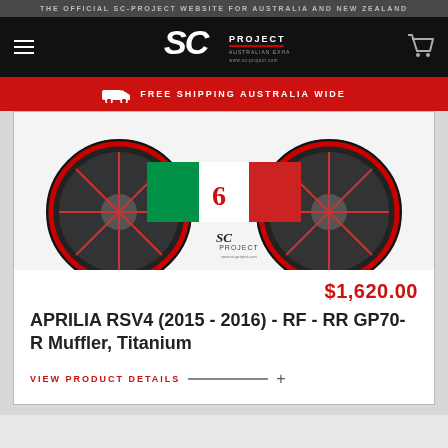THE OFFICIAL SC-PROJECT WEBSITE FOR AUSTRALIA AND NEW ZEALAND
[Figure (logo): SC-Project logo with hamburger menu and cart icon on black navigation bar]
FREE SHIPPING AUSTRALIA WIDE
[Figure (photo): Aprilia RSV4 motorcycle exhaust product photo showing red wheels and SC-Project branding]
$1,620.00
APRILIA RSV4 (2015 - 2016) - RF - RR GP70-R Muffler, Titanium
VIEW PRODUCT DETAILS